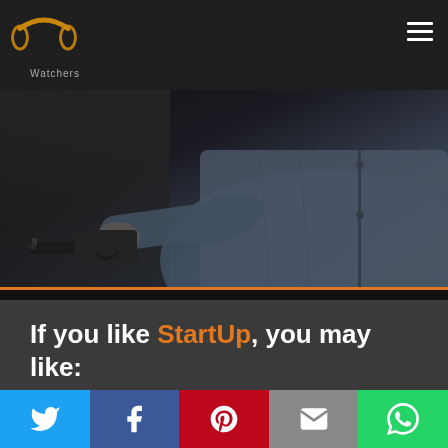PP Watchers
[Figure (photo): Person in dark shirt reaching out holding a gun, dark moody background]
If you like StartUp, you may like:
[Figure (photo): Partially visible thumbnail image with green/teal tones]
Social share bar: Twitter, Facebook, Pinterest, Email, WhatsApp